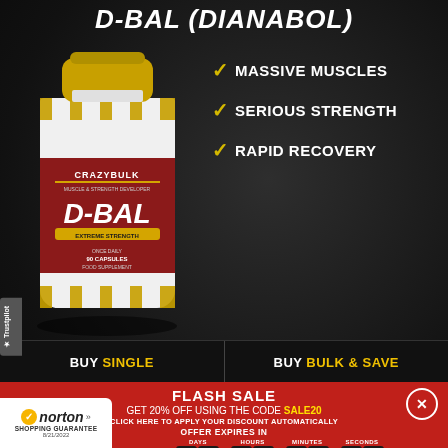D-BAL (DIANABOL)
[Figure (photo): CrazyBulk D-BAL supplement bottle with white body, gold cap, and red label showing product name D-BAL]
MASSIVE MUSCLES
SERIOUS STRENGTH
RAPID RECOVERY
BUY SINGLE
BUY BULK & SAVE
FLASH SALE
GET 20% OFF USING THE CODE SALE20
CLICK HERE TO APPLY YOUR DISCOUNT AUTOMATICALLY
OFFER EXPIRES IN
00:23:59:56
[Figure (logo): Norton Shopping Guarantee badge with checkmark logo, dated 8/21/2022]
Trustpilot